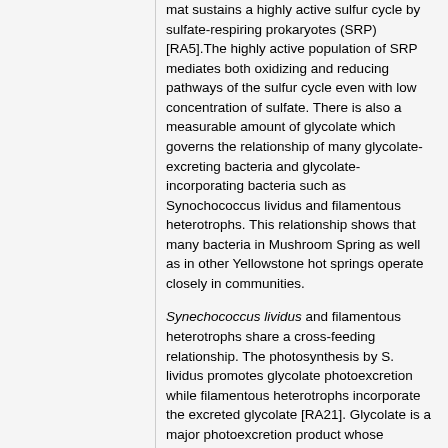mat sustains a highly active sulfur cycle by sulfate-respiring prokaryotes (SRP) [RA5].The highly active population of SRP mediates both oxidizing and reducing pathways of the sulfur cycle even with low concentration of sulfate. There is also a measurable amount of glycolate which governs the relationship of many glycolate-excreting bacteria and glycolate-incorporating bacteria such as Synochococcus lividus and filamentous heterotrophs. This relationship shows that many bacteria in Mushroom Spring as well as in other Yellowstone hot springs operate closely in communities.
Synechococcus lividus and filamentous heterotrophs share a cross-feeding relationship. The photosynthesis by S. lividus promotes glycolate photoexcretion while filamentous heterotrophs incorporate the excreted glycolate [RA21]. Glycolate is a major photoexcretion product whose production is light-dependent and increased in the presence of O2. However, the